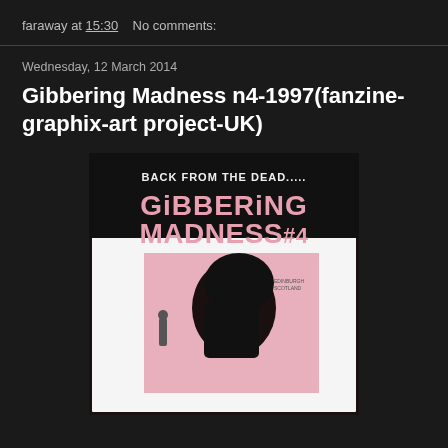faraway at 15:30    No comments:
Wednesday, 12 March 2014
Gibbering Madness n4-1997(fanzine-graphix-art project-UK)
[Figure (illustration): Cover of Gibbering Madness #4 fanzine. Black and pink cover with hand-drawn text reading 'BACK FROM THE DEAD.....' at top, then large stylized text 'GIBBERING MADNESS #4'. Below is an illustration of a figure with a large dark head bending over, on a pink background.]